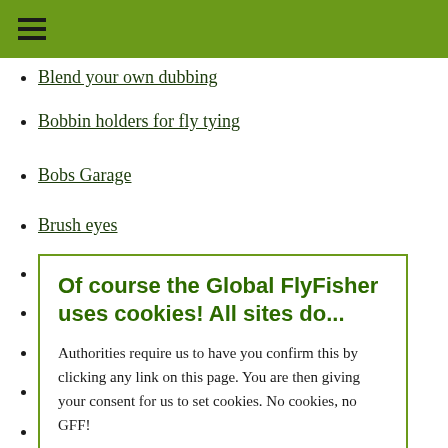≡ (hamburger menu)
Blend your own dubbing
Bobbin holders for fly tying
Bobs Garage
Brush eyes
Of course the Global FlyFisher uses cookies! All sites do...

Authorities require us to have you confirm this by clicking any link on this page. You are then giving your consent for us to set cookies. No cookies, no GFF!

More about privacy and cookies
OK, I agree